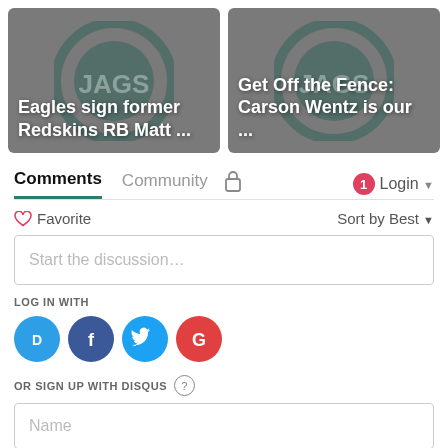[Figure (screenshot): Two article thumbnail cards side by side. Left card: 'Eagles sign former Redskins RB Matt ...' on dark background with team logo. Right card: 'Get Off the Fence: Carson Wentz is our ...' on dark background with team logo.]
Comments   Community   🔒   1   Login ▾
♡ Favorite   Sort by Best ▾
Start the discussion…
LOG IN WITH
[Figure (logo): Four social login icons: Disqus (D), Facebook (F), Twitter bird, Google (G)]
OR SIGN UP WITH DISQUS ?
Name
n't load |